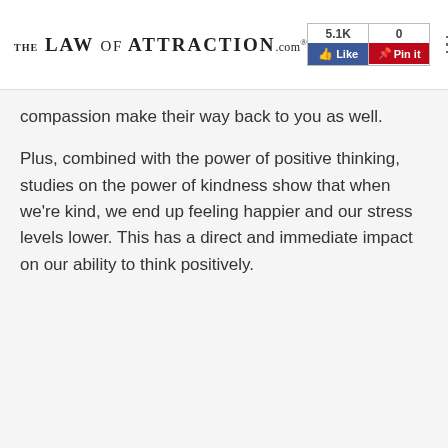The Law of Attraction .com® | 5.1K Like | 0 Pin it
compassion make their way back to you as well.
Plus, combined with the power of positive thinking, studies on the power of kindness show that when we're kind, we end up feeling happier and our stress levels lower. This has a direct and immediate impact on our ability to think positively.